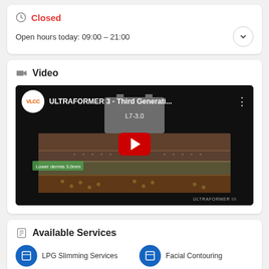Closed
Open hours today: 09:00 – 21:00
Video
[Figure (screenshot): YouTube video thumbnail for 'ULTRAFORMER 3 - Third Generati...' by VLCC, showing a 3D anatomical cross-section of skin layers with L7-3.0 device label and 'Lower dermis 3.0mm' annotation. Red YouTube play button in center. ULTRAFORMER III watermark at bottom right.]
Available Services
LPG Slimming Services
Facial Contouring